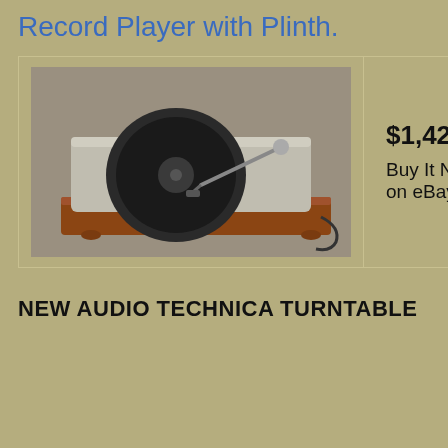Record Player with Plinth.
| [image of turntable] | $1,424.00
Buy It Now on eBay |
NEW AUDIO TECHNICA TURNTABLE